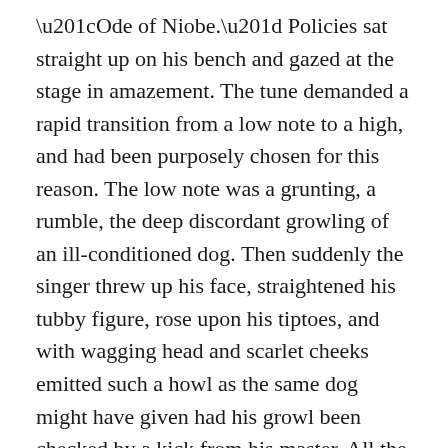“Ode of Niobe.” Policies sat straight up on his bench and gazed at the stage in amazement. The tune demanded a rapid transition from a low note to a high, and had been purposely chosen for this reason. The low note was a grunting, a rumble, the deep discordant growling of an ill-conditioned dog. Then suddenly the singer threw up his face, straightened his tubby figure, rose upon his tiptoes, and with wagging head and scarlet cheeks emitted such a howl as the same dog might have given had his growl been checked by a kick from his master. All the while the lyre twanged and thrummed, sometimes in front of and sometimes behind the voice of the singer. But what amazed Policies most of all was the effect of this performance upon the audience. Every Greek was a trained critic, and as unsparing in his hisses as he was lavish in his